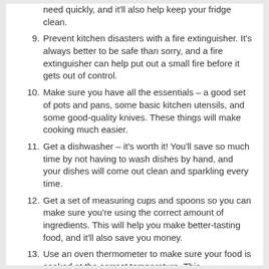need quickly, and it'll also help keep your fridge clean.
9. Prevent kitchen disasters with a fire extinguisher. It's always better to be safe than sorry, and a fire extinguisher can help put out a small fire before it gets out of control.
10. Make sure you have all the essentials – a good set of pots and pans, some basic kitchen utensils, and some good-quality knives. These things will make cooking much easier.
11. Get a dishwasher – it's worth it! You'll save so much time by not having to wash dishes by hand, and your dishes will come out clean and sparkling every time.
12. Get a set of measuring cups and spoons so you can make sure you're using the correct amount of ingredients. This will help you make better-tasting food, and it'll also save you money.
13. Use an oven thermometer to make sure your food is cooked at the correct temperature. This